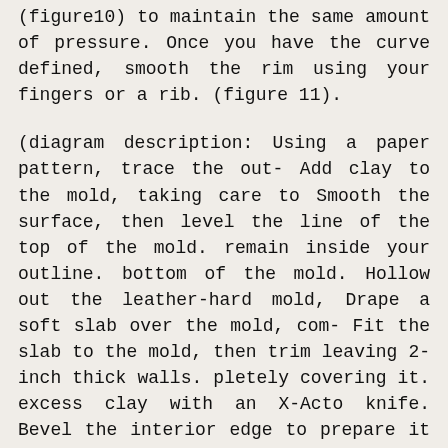(figure10) to maintain the same amount of pressure. Once you have the curve defined, smooth the rim using your fingers or a rib. (figure 11).
(diagram description: Using a paper pattern, trace the out- Add clay to the mold, taking care to Smooth the surface, then level the line of the top of the mold. remain inside your outline. bottom of the mold. Hollow out the leather-hard mold, Drape a soft slab over the mold, com- Fit the slab to the mold, then trim leaving 2-inch thick walls. pletely covering it. excess clay with an X-Acto knife. Bevel the interior edge to prepare it Add a large, slightly flattened coil to Add a thin coil to outside wall where for an added coil.